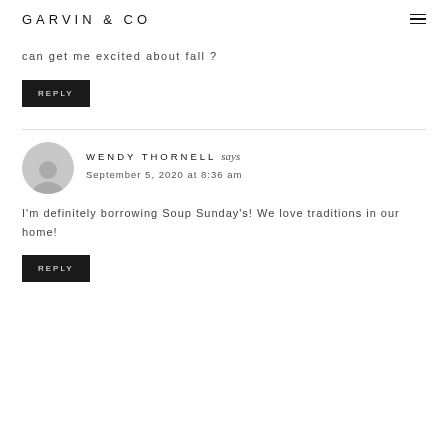GARVIN & CO
can get me excited about fall ?
REPLY
WENDY THORNELL says
September 5, 2020 at 8:36 am
I'm definitely borrowing Soup Sunday's! We love traditions in our home!
REPLY